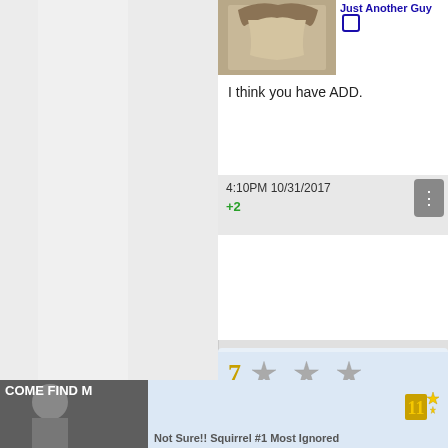[Figure (screenshot): Social media comment thread screenshot. Top comment by 'Just Another Guy' with profile picture (person with dreadlocks), text 'I think you have ADD.', timestamp '4:10PM 10/31/2017', upvote '+2'. Second comment by '007Dad' with James Bond profile picture, 7-star rating display, text 'Pretty sure its much deeper and worse that that, sadly :(', timestamp '3:19AM 11/1/2017'. Bottom strip shows another post starting with 'COME FIND M' and username 'Not Sure!! Squirrel #1 Most Ignored'.]